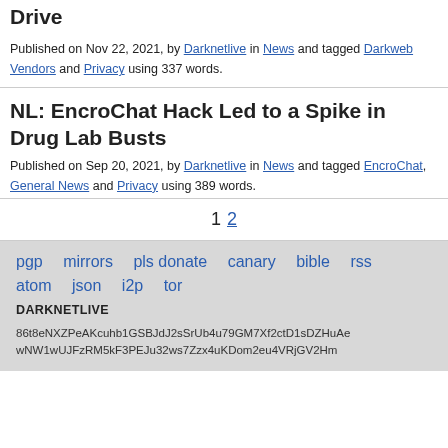Drive
Published on Nov 22, 2021, by Darknetlive in News and tagged Darkweb Vendors and Privacy using 337 words.
NL: EncroChat Hack Led to a Spike in Drug Lab Busts
Published on Sep 20, 2021, by Darknetlive in News and tagged EncroChat, General News and Privacy using 389 words.
1 2
pgp mirrors pls donate canary bible rss atom json i2p tor DARKNETLIVE 86t8eNXZPeAKcuhb1GSBJdJ2sSrUb4u79GM7Xf2ctD1sDZHuAewNW1wUJFzRM5kF3PEJu32ws7Zzx4uKDom2eu4VRjGV2Hm